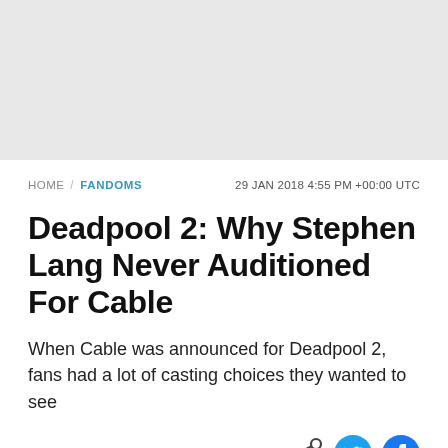[Figure (other): Gray advertisement banner placeholder at top of page]
HOME / FANDOMS   29 JAN 2018 4:55 PM +00:00 UTC
Deadpool 2: Why Stephen Lang Never Auditioned For Cable
When Cable was announced for Deadpool 2, fans had a lot of casting choices they wanted to see
By Nico Parungo